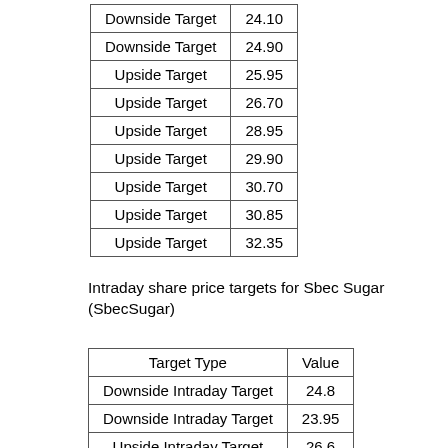| Target Type | Value |
| --- | --- |
| Downside Target | 24.10 |
| Downside Target | 24.90 |
| Upside Target | 25.95 |
| Upside Target | 26.70 |
| Upside Target | 28.95 |
| Upside Target | 29.90 |
| Upside Target | 30.70 |
| Upside Target | 30.85 |
| Upside Target | 32.35 |
Intraday share price targets for Sbec Sugar (SbecSugar)
| Target Type | Value |
| --- | --- |
| Downside Intraday Target | 24.8 |
| Downside Intraday Target | 23.95 |
| Upside Intraday Target | 26.6 |